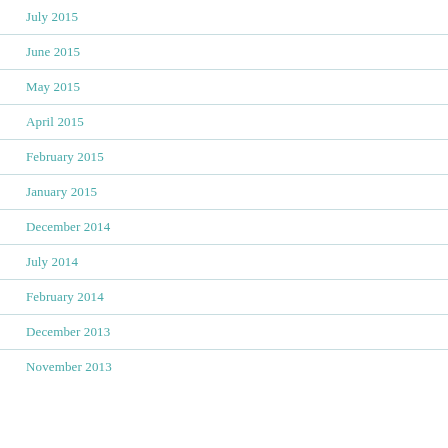July 2015
June 2015
May 2015
April 2015
February 2015
January 2015
December 2014
July 2014
February 2014
December 2013
November 2013